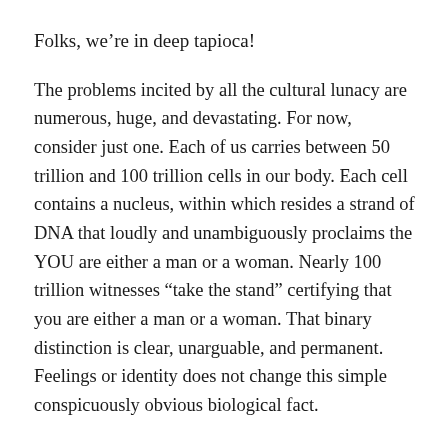Folks, we're in deep tapioca!
The problems incited by all the cultural lunacy are numerous, huge, and devastating. For now, consider just one. Each of us carries between 50 trillion and 100 trillion cells in our body. Each cell contains a nucleus, within which resides a strand of DNA that loudly and unambiguously proclaims the YOU are either a man or a woman. Nearly 100 trillion witnesses “take the stand” certifying that you are either a man or a woman. That binary distinction is clear, unarguable, and permanent. Feelings or identity does not change this simple conspicuously obvious biological fact.